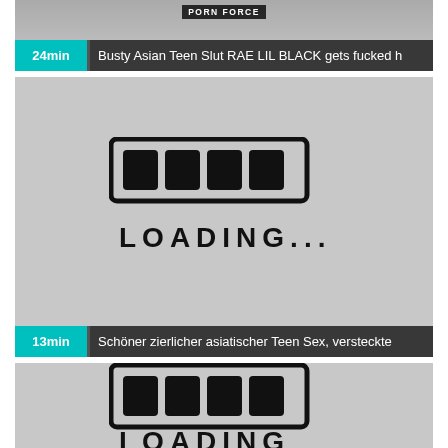[Figure (screenshot): Partial video thumbnail showing top of frame with PORN FORCE watermark badge and video overlay bar showing '24min' and title 'Busty Asian Teen Slut RAE LIL BLACK gets fucked h']
[Figure (screenshot): Video thumbnail with gray loading placeholder showing hand-drawn loading bar icon and text 'LOADING...' with overlay bar showing '13min' and title 'Schöner zierlicher asiatischer Teen Sex, versteckte']
[Figure (screenshot): Partial video thumbnail with gray loading placeholder showing partial hand-drawn loading bar icon and partial text 'LOADING' cut off at page bottom]